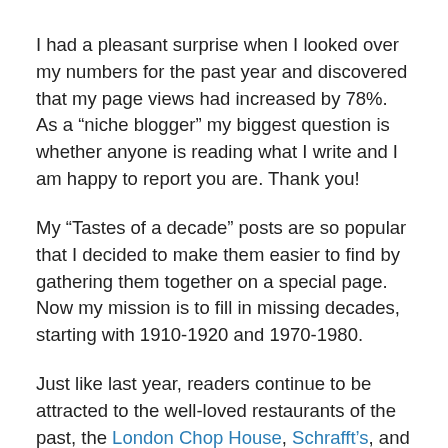I had a pleasant surprise when I looked over my numbers for the past year and discovered that my page views had increased by 78%. As a “niche blogger” my biggest question is whether anyone is reading what I write and I am happy to report you are. Thank you!
My “Tastes of a decade” posts are so popular that I decided to make them easier to find by gathering them together on a special page. Now my mission is to fill in missing decades, starting with 1910-1920 and 1970-1980.
Just like last year, readers continue to be attracted to the well-loved restaurants of the past, the London Chop House, Schrafft’s, and Maxwell’s Plum. But even they were outdone. A new TV show set in Miami Beach in 1959 called “Magic City” propelled my 2011 post on Wolfie’s into the rank of second most visited post of 2012! Taste of a...